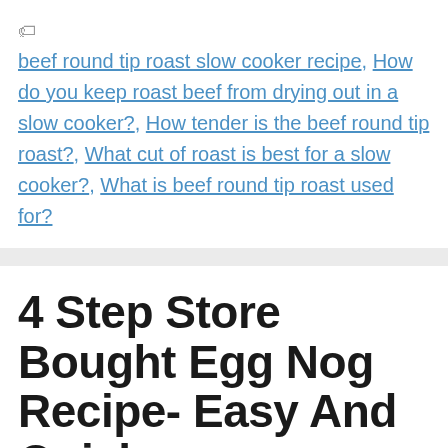beef round tip roast slow cooker recipe, How do you keep roast beef from drying out in a slow cooker?, How tender is the beef round tip roast?, What cut of roast is best for a slow cooker?, What is beef round tip roast used for?
4 Step Store Bought Egg Nog Recipe- Easy And Quick
June 26, 2022 by Nixza